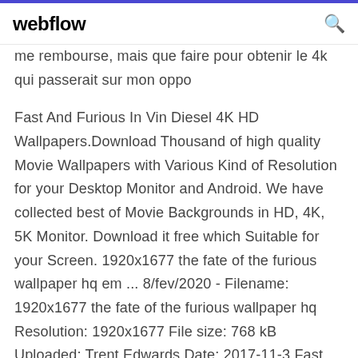webflow
me rembourse, mais que faire pour obtenir le 4k qui passerait sur mon oppo
Fast And Furious In Vin Diesel 4K HD Wallpapers.Download Thousand of high quality Movie Wallpapers with Various Kind of Resolution for your Desktop Monitor and Android. We have collected best of Movie Backgrounds in HD, 4K, 5K Monitor. Download it free which Suitable for your Screen. 1920x1677 the fate of the furious wallpaper hq em ... 8/fev/2020 - Filename: 1920x1677 the fate of the furious wallpaper hq Resolution: 1920x1677 File size: 768 kB Uploaded: Trent Edwards Date: 2017-11-3 Fast and Furious 7 4K Ultra HD